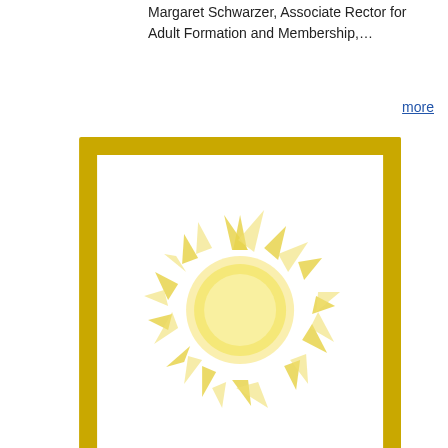Margaret Schwarzer, Associate Rector for Adult Formation and Membership,…
more
[Figure (illustration): Gold-framed image with a bright yellow sun illustration on white background, with a gold banner at the bottom reading 'BRIGHT IDEAS']
Clean clothes and community: "Laundry Love" at Grace Church, New Bedford
Grace Church in New Bedford has joined a national movement to provide something that is taken for granted by many, but sometimes out of reach for the homeless and working poor: clean laundry.  South Coast Mission Hub Life Together intern Victoria Laskey learned of the nationwide Laundry